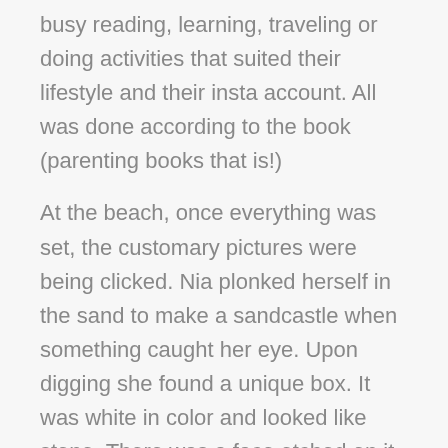busy reading, learning, traveling or doing activities that suited their lifestyle and their insta account. All was done according to the book (parenting books that is!)
At the beach, once everything was set, the customary pictures were being clicked. Nia plonked herself in the sand to make a sandcastle when something caught her eye. Upon digging she found a unique box. It was white in color and looked like stone. There was a face etched on it, with the mouth being a keyhole. Nia turned it around excitedly and found a small but rusted key in a socket at the back.
Unsure, she put the key in the mouth and